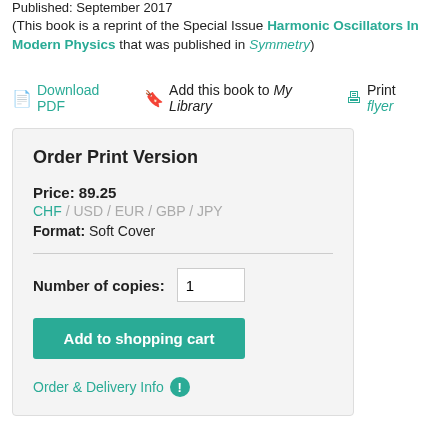Published: September 2017
(This book is a reprint of the Special Issue Harmonic Oscillators In Modern Physics that was published in Symmetry)
Download PDF   Add this book to My Library   Print flyer
Order Print Version
Price: 89.25
CHF / USD / EUR / GBP / JPY
Format: Soft Cover
Number of copies: 1
Add to shopping cart
Order & Delivery Info